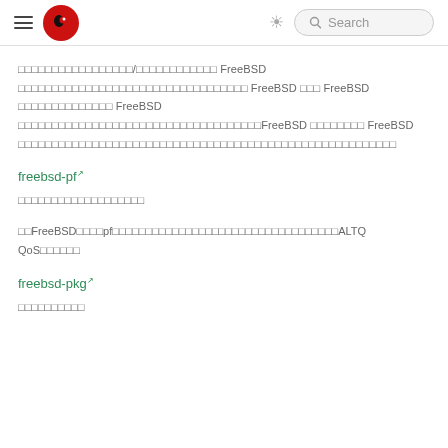Navigation header with logo and search
□□□□□□□□□□□□□□□□□/□□□□□□□□□□□□ FreeBSD □□□□□□□□□□□□□□□□□□□□□□□□□□□□□□□□□□ FreeBSD □□□ FreeBSD □□□□□□□□□□□□□□ FreeBSD □□□□□□□□□□□□□□□□□□□□□□□□□□□□□□□□□□□□FreeBSD □□□□□□□□ FreeBSD □□□□□□□□□□□□□□□□□□□□□□□□□□□□□□□□□□□□□□□□□□□□□□□□□□□□□□□□
freebsd-pf
□□□□□□□□□□□□□□□□□□□
□□FreeBSD□□□□pf□□□□□□□□□□□□□□□□□□□□□□□□□□□□□□□□□□ALTQ QoS□□□□□□
freebsd-pkg
□□□□□□□□□□